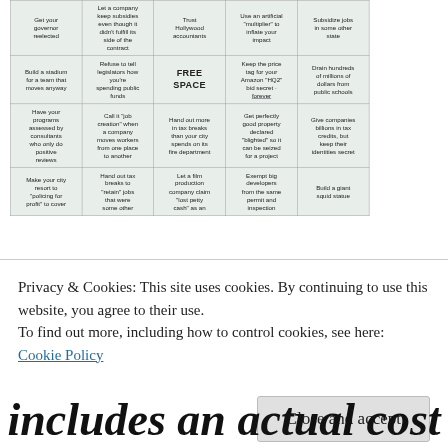| Get your governor reelected | Let a company keep subsidies even though it didn't fulfill its side of the contract | Trust Hollywood accountants | Use an artificial "multiplier" to inflate your impact | Subsidize jobs in some other state |
| Build a stadium for a team that moves anyway | Refuse to tell legislators how you're spending public funds | FREE SPACE | Keep the price tag for your Amazon "HQ2" bid secret - forever | Drain hundreds of millions of dollars from public schools |
| Have your programs assessed by consultants who only do positive reviews | Call it "job creation" when a company moves workers from one place to another | Hand out more in tax breaks than your city spends on its fire department | Get perfectly good property declared "blighted" so it can be seized for a project | Give companies billions in tax credits, but keep their identities secret |
| Make your city resort to "policing for profit" to cover | Hand out tax breaks to "retain" jobs that were [cut off] | Let a film production company claim "lost petty cash" as an [cut off] | Exempt big developers from the same permit and inspection [cut off] | Build a giant squid statue |
Privacy & Cookies: This site uses cookies. By continuing to use this website, you agree to their use.
To find out more, including how to control cookies, see here: Cookie Policy
Close and accept
includes an actual cost